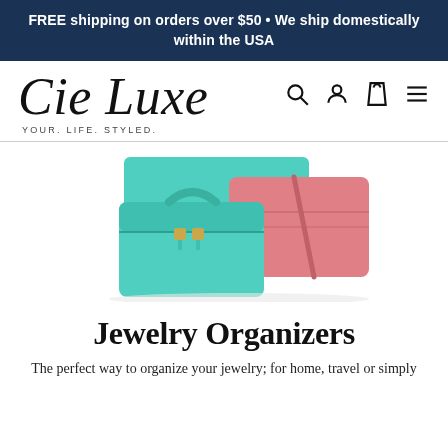FREE shipping on orders over $50 • We ship domestically within the USA
Cie Luxe
YOUR. LIFE. STYLED.
[Figure (photo): Product photo showing mint green jewelry travel case with zipper and handle alongside a coral/pink jewelry roll organizer, with a mint green flat pouch behind them, all on a white background.]
Jewelry Organizers
The perfect way to organize your jewelry; for home, travel or simply